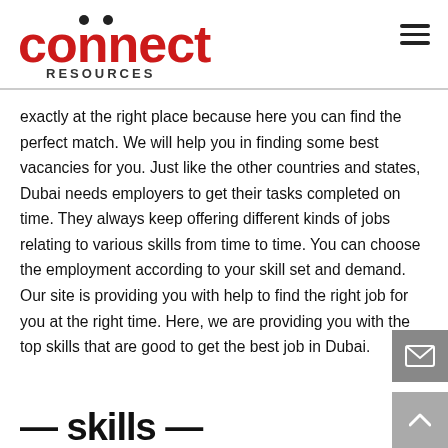[Figure (logo): Connect Resources logo — red stylized text 'connect' with dots above two letters, and 'RESOURCES' below in dark grey]
exactly at the right place because here you can find the perfect match. We will help you in finding some best vacancies for you. Just like the other countries and states, Dubai needs employers to get their tasks completed on time. They always keep offering different kinds of jobs relating to various skills from time to time. You can choose the employment according to your skill set and demand. Our site is providing you with help to find the right job for you at the right time. Here, we are providing you with the top skills that are good to get the best job in Dubai.